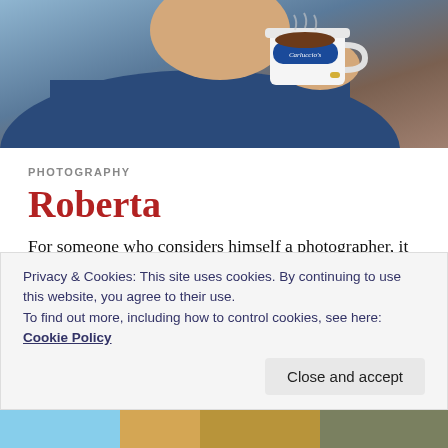[Figure (photo): Person holding a Carluccio's branded coffee cup, wearing a blue jacket, photographed in a cafe setting]
PHOTOGRAPHY
Roberta
For someone who considers himself a photographer, it is troubling how few photos I have of the most important people in my life. One would be inclined to think that the more time one spends with a particular person, the greater the number of photos one would have of said person. Unfortunately, the relationship is far from linear.
Privacy & Cookies: This site uses cookies. By continuing to use this website, you agree to their use.
To find out more, including how to control cookies, see here: Cookie Policy
[Figure (photo): Partial photo visible at bottom of page]